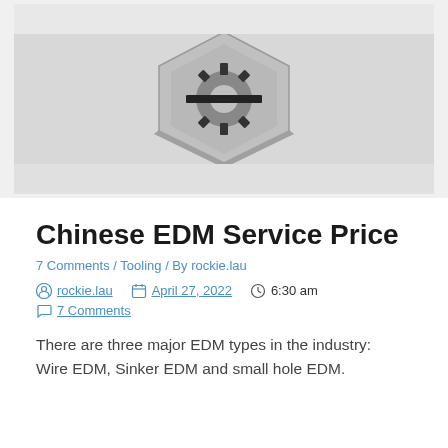[Figure (photo): Black and white photograph of a metal hexagonal EDM-machined part with gear-like cutouts on a light gray background]
Chinese EDM Service Price
7 Comments / Tooling / By rockie.lau
rockie.lau   April 27, 2022   6:30 am
7 Comments
There are three major EDM types in the industry: Wire EDM, Sinker EDM and small hole EDM.